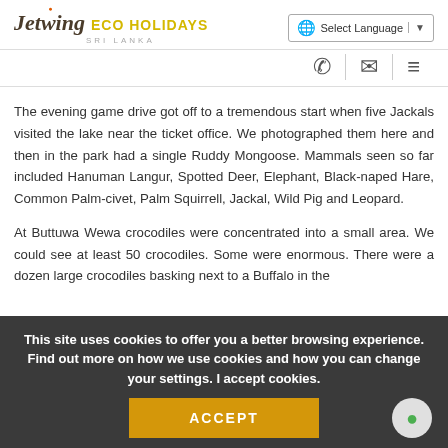Jetwing ECO HOLIDAYS SRI LANKA | Select Language
The evening game drive got off to a tremendous start when five Jackals visited the lake near the ticket office. We photographed them here and then in the park had a single Ruddy Mongoose. Mammals seen so far included Hanuman Langur, Spotted Deer, Elephant, Black-naped Hare, Common Palm-civet, Palm Squirrell, Jackal, Wild Pig and Leopard.
At Buttuwa Wewa crocodiles were concentrated into a small area. We could see at least 50 crocodiles. Some were enormous. There were a dozen large crocodiles basking next to a Buffalo in the
This site uses cookies to offer you a better browsing experience. Find out more on how we use cookies and how you can change your settings. I accept cookies.
ACCEPT